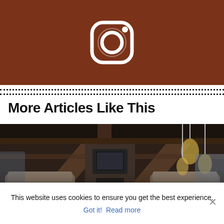[Figure (photo): Instagram logo icon on a dark reddish-brown textured background]
More Articles Like This
[Figure (photo): Interior of a luxury chalet with wooden beams, stone fireplace, large TV, decorative pendant lights, and comfortable seating]
CHALETS
The Luxury Brickell Chalet by Pure Concept
This website uses cookies to ensure you get the best experience.
Got it!  Read more